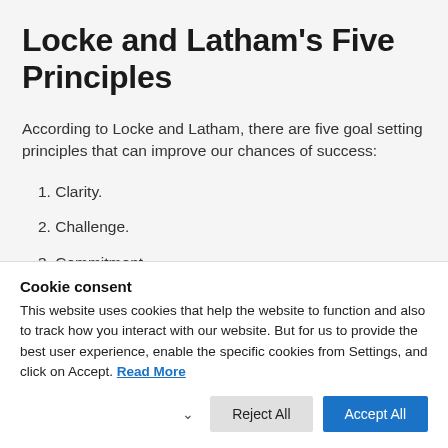Locke and Latham's Five Principles
According to Locke and Latham, there are five goal setting principles that can improve our chances of success:
1. Clarity.
2. Challenge.
3. Commitment.
Cookie consent
This website uses cookies that help the website to function and also to track how you interact with our website. But for us to provide the best user experience, enable the specific cookies from Settings, and click on Accept. Read More